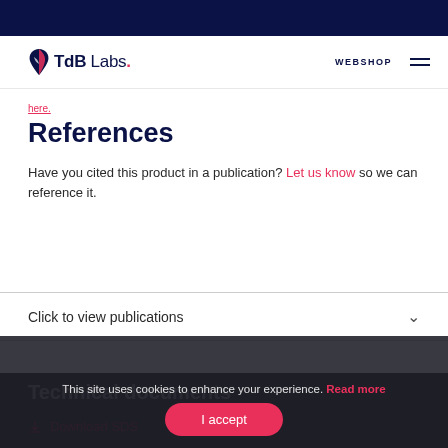TdB Labs. | WEBSHOP
here.
References
Have you cited this product in a publication? Let us know so we can reference it.
Click to view publications
Technical documents
Download SDS
This site uses cookies to enhance your experience. Read more
I accept